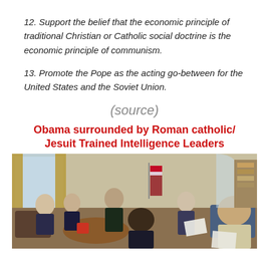12. Support the belief that the economic principle of traditional Christian or Catholic social doctrine is the economic principle of communism.
13. Promote the Pope as the acting go-between for the United States and the Soviet Union.
(source)
Obama surrounded by Roman catholic/ Jesuit Trained Intelligence Leaders
[Figure (photo): Photograph of a meeting in the Oval Office with Barack Obama and several intelligence leaders seated in a group.]